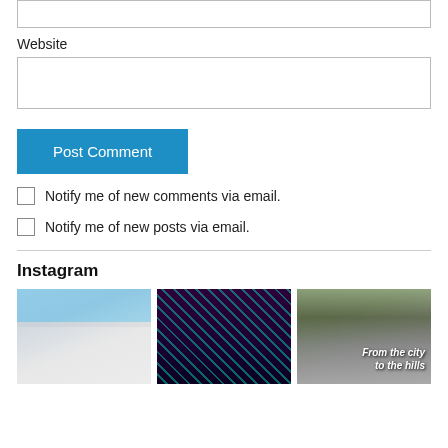[input box - top, partially visible]
Website
[Website input box]
Post Comment
Notify me of new comments via email.
Notify me of new posts via email.
Instagram
[Figure (photo): Street scene photo showing a man with sunglasses and a bag standing near parked vehicles in front of a storefront]
[Figure (photo): Photo of two people standing in a colorful neon-lit tunnel or corridor with green and purple lights]
[Figure (photo): Photo of people near the trunk of a car with text overlay reading 'From the city to the hills']